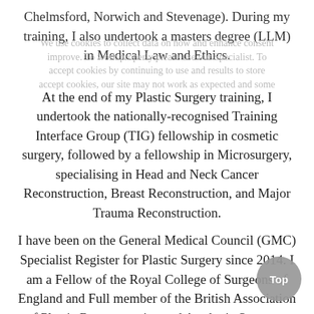Chelmsford, Norwich and Stevenage). During my training, I also undertook a masters degree (LLM) in Medical Law and Ethics.
At the end of my Plastic Surgery training, I undertook the nationally-recognised Training Interface Group (TIG) fellowship in cosmetic surgery, followed by a fellowship in Microsurgery, specialising in Head and Neck Cancer Reconstruction, Breast Reconstruction, and Major Trauma Reconstruction.
I have been on the General Medical Council (GMC) Specialist Register for Plastic Surgery since 2014. I am a Fellow of the Royal College of Surgeons of England and Full member of the British Association of Plastic Reconstructive and Aesthetic Surgeons (BAPRAS).